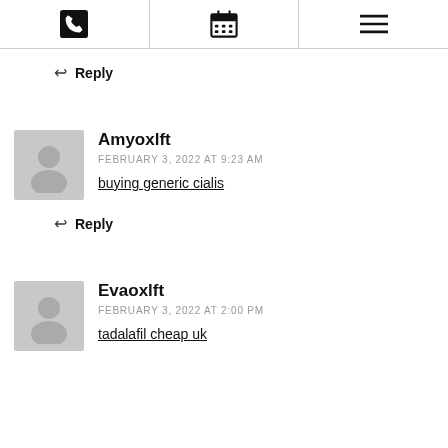[Phone icon] [Calendar icon] [Menu icon]
↩ Reply
[Figure (illustration): Gray avatar placeholder icon for user Amyoxlft]
Amyoxlft
FEBRUARY 3, 2022 AT 9:23 AM
buying generic cialis
↩ Reply
[Figure (illustration): Gray avatar placeholder icon for user Evaoxlft]
Evaoxlft
FEBRUARY 3, 2022 AT 2:00 PM
tadalafil cheap uk